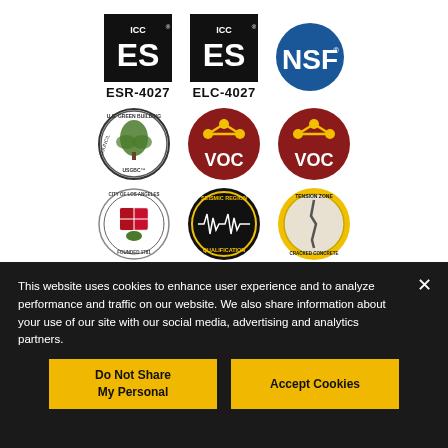[Figure (logo): ICC ES ESR-4027 certification badge — black square with ICC ES logo, labeled ESR-4027]
[Figure (logo): ICC ES ELC-4027 certification badge — black square with ICC ES logo, labeled ELC-4027]
[Figure (logo): NSF certification badge — blue circle with NSF text]
[Figure (logo): USGBC US Green Building Council circular badge]
[Figure (logo): VOC compliant circular red badge with molecule graphic]
[Figure (logo): VOC compliant circular red badge with molecule graphic]
[Figure (logo): City of Los Angeles seal]
[Figure (logo): Seismic Region Qualification badge — black circle with gold text and seismic wave graphic]
[Figure (logo): Tension Zone Cracked Concrete badge — gold circle with cracked concrete graphic]
This website uses cookies to enhance user experience and to analyze performance and traffic on our website. We also share information about your use of our site with our social media, advertising and analytics partners.
Do Not Share My Personal
Accept Cookies